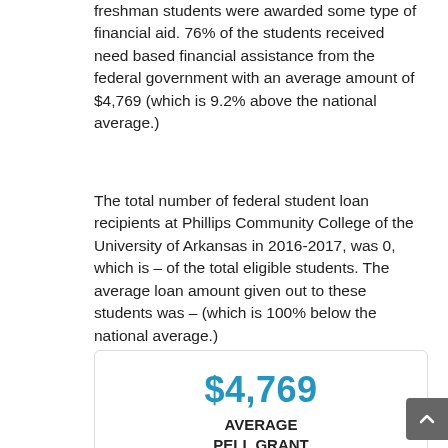freshman students were awarded some type of financial aid. 76% of the students received need based financial assistance from the federal government with an average amount of $4,769 (which is 9.2% above the national average.)
The total number of federal student loan recipients at Phillips Community College of the University of Arkansas in 2016-2017, was 0, which is – of the total eligible students. The average loan amount given out to these students was – (which is 100% below the national average.)
[Figure (infographic): Info card showing $4,769 Average Pell Grant (2016-2017) with National Average = $4,368 below a divider line.]